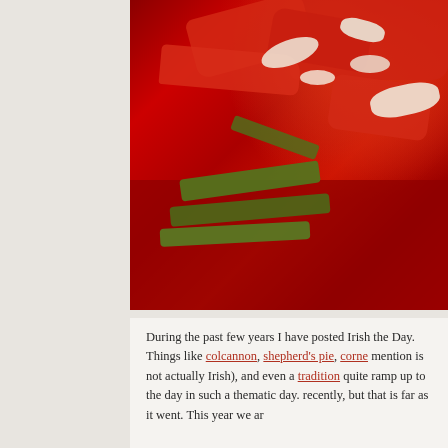[Figure (photo): Close-up photo of food on a red plate: red chunks (likely tomato or pepper), green pepper strips, and white crumbled cheese (feta), viewed from above on a red surface.]
During the past few years I have posted Irish the Day. Things like colcannon, shepherd's pie, corne mention is not actually Irish), and even a tradition quite ramp up to the day in such a thematic day. recently, but that is far as it went. This year we ar